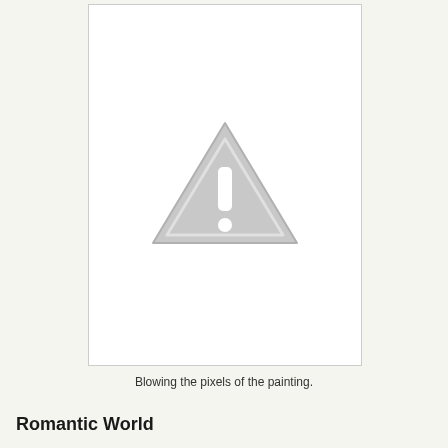[Figure (illustration): A placeholder image with a gray warning triangle containing a white exclamation mark, displayed on a white background with a thin border.]
Blowing the pixels of the painting.
Romantic World